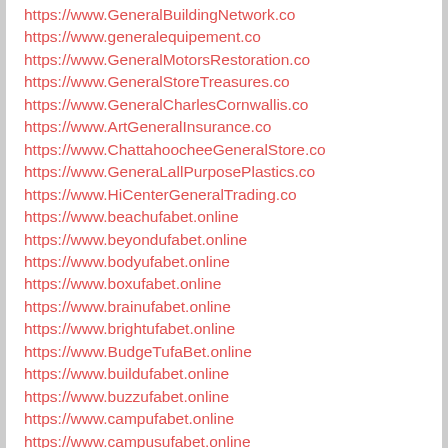https://www.GeneralBuildingNetwork.co
https://www.generalequipement.co
https://www.GeneralMotorsRestoration.co
https://www.GeneralStoreTreasures.co
https://www.GeneralCharlesCornwallis.co
https://www.ArtGeneralInsurance.co
https://www.ChattahoocheeGeneralStore.co
https://www.GeneraLallPurposePlastics.co
https://www.HiCenterGeneralTrading.co
https://www.beachufabet.online
https://www.beyondufabet.online
https://www.bodyufabet.online
https://www.boxufabet.online
https://www.brainufabet.online
https://www.brightufabet.online
https://www.BudgeTufaBet.online
https://www.buildufabet.online
https://www.buzzufabet.online
https://www.campufabet.online
https://www.campusufabet.online